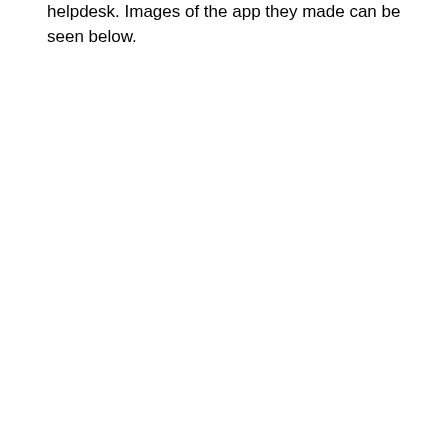helpdesk. Images of the app they made can be seen below.